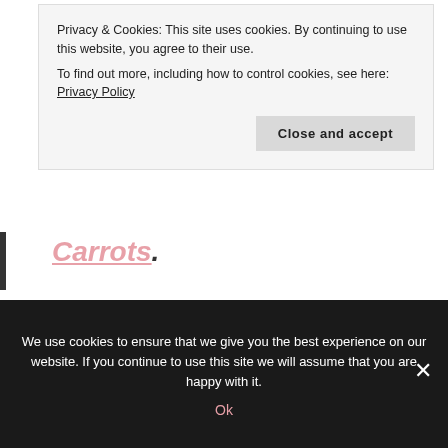Privacy & Cookies: This site uses cookies. By continuing to use this website, you agree to their use.
To find out more, including how to control cookies, see here: Privacy Policy
Close and accept
Carrots.
Image Credit: Image by Mashe, Purchased From Fotolia
We use cookies to ensure that we give you the best experience on our website. If you continue to use this site we will assume that you are happy with it.
Ok